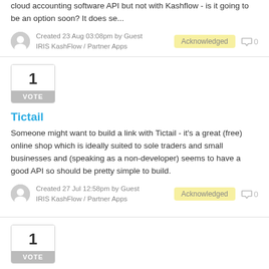cloud accounting software API but not with Kashflow - is it going to be an option soon? It does se...
Created 23 Aug 03:08pm by Guest
IRIS KashFlow / Partner Apps
Acknowledged  0
[Figure (infographic): Vote box showing number 1 with grey VOTE label]
Tictail
Someone might want to build a link with Tictail - it's a great (free) online shop which is ideally suited to sole traders and small businesses and (speaking as a non-developer) seems to have a good API so should be pretty simple to build.
Created 27 Jul 12:58pm by Guest
IRIS KashFlow / Partner Apps
Acknowledged  0
[Figure (infographic): Vote box showing number 1 with grey VOTE label]